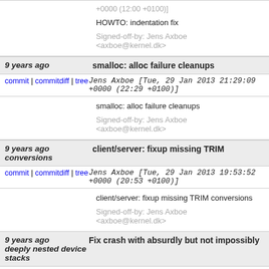+0000 (12:00 +0100)]
HOWTO: indentation fix
Signed-off-by: Jens Axboe <axboe@kernel.dk>
9 years ago   smalloc: alloc failure cleanups
commit | commitdiff | tree   Jens Axboe [Tue, 29 Jan 2013 21:29:09 +0000 (22:29 +0100)]
smalloc: alloc failure cleanups
Signed-off-by: Jens Axboe <axboe@kernel.dk>
9 years ago   client/server: fixup missing TRIM conversions
commit | commitdiff | tree   Jens Axboe [Tue, 29 Jan 2013 19:53:52 +0000 (20:53 +0100)]
client/server: fixup missing TRIM conversions
Signed-off-by: Jens Axboe <axboe@kernel.dk>
9 years ago   Fix crash with absurdly but not impossibly deeply nested device stacks
commit | commitdiff | tree   Ken Raeburn [Tue, 29 Jan 2013 09:18:13